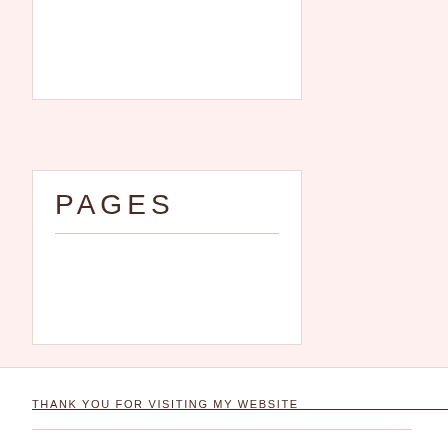PAGES
POSTS
THANK YOU FOR VISITING MY WEBSITE